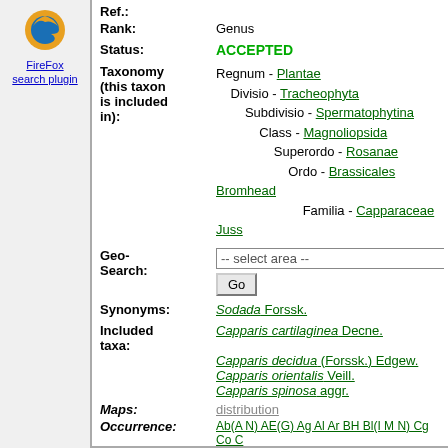[Figure (logo): Firefox browser logo icon]
FireFox search plugin
Ref.:
Rank: Genus
Status: ACCEPTED
Taxonomy (this taxon is included in): Regnum - Plantae Divisio - Tracheophyta Subdivisio - Spermatophytina Class - Magnoliopsida Superordo - Rosanae Ordo - Brassicales Bromhead Familia - Capparaceae Juss
Geo-Search: -- select area -- Go
Synonyms: Sodada Forssk.
Included taxa: Capparis cartilaginea Decne. Capparis decidua (Forssk.) Edgew. Capparis orientalis Veill. Capparis spinosa aggr.
Maps: distribution
Occurrence: Ab(A N) AE(G) Ag Al Ar BH Bl(I M N) Cg Co C Ir It Jo Le Li Lu Ma Mk Rf(CS) Sa Si(M S) Sl S nHe]